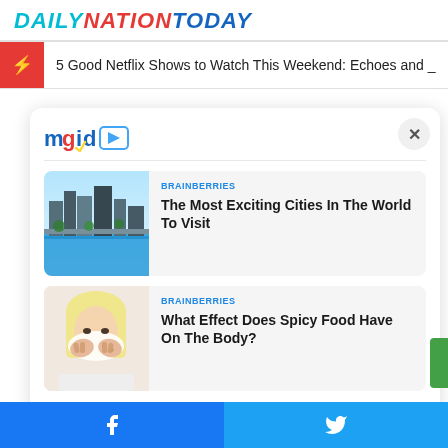DAILYNATIONTODAY
5 Good Netflix Shows to Watch This Weekend: Echoes and _
[Figure (screenshot): mgid content widget with play icon logo]
BRAINBERRIES
The Most Exciting Cities In The World To Visit
[Figure (photo): Aerial view of futuristic city with blue waterways and skyscrapers]
BRAINBERRIES
What Effect Does Spicy Food Have On The Body?
[Figure (photo): Portrait of a woman with blond hair covering her face with her hands]
Facebook share | Twitter share